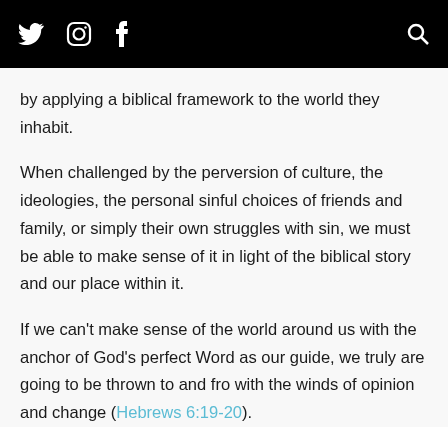Twitter Instagram Facebook [Search]
by applying a biblical framework to the world they inhabit.
When challenged by the perversion of culture, the ideologies, the personal sinful choices of friends and family, or simply their own struggles with sin, we must be able to make sense of it in light of the biblical story and our place within it.
If we can't make sense of the world around us with the anchor of God's perfect Word as our guide, we truly are going to be thrown to and fro with the winds of opinion and change (Hebrews 6:19-20).